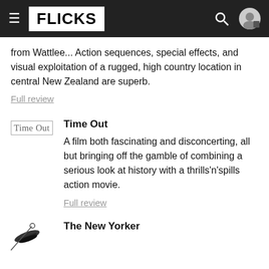FLICKS
from Wattlee... Action sequences, special effects, and visual exploitation of a rugged, high country location in central New Zealand are superb.
Full review
Time Out
A film both fascinating and disconcerting, all but bringing off the gamble of combining a serious look at history with a thrills'n'spills action movie.
Full review
The New Yorker